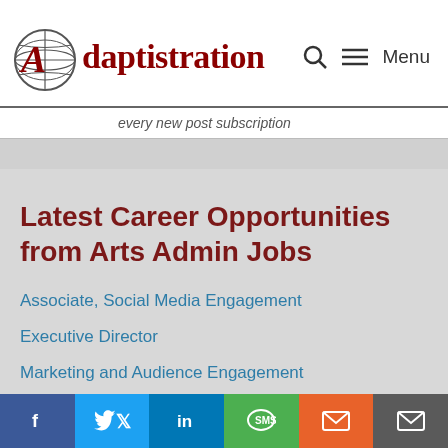Adaptistration | Menu
every new post subscription
Latest Career Opportunities from Arts Admin Jobs
Associate, Social Media Engagement
Executive Director
Marketing and Audience Engagement
f | in | SMS | mail | mail